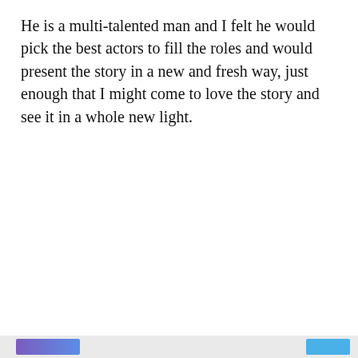He is a multi-talented man and I felt he would pick the best actors to fill the roles and would present the story in a new and fresh way, just enough that I might come to love the story and see it in a whole new light.
https://www.youtube.com/watch?v=20DF6U1HcGQ
Privacy & Cookies: This site uses cookies. By continuing to use this website, you agree to their use.
To find out more, including how to control cookies, see here: Cookie Policy